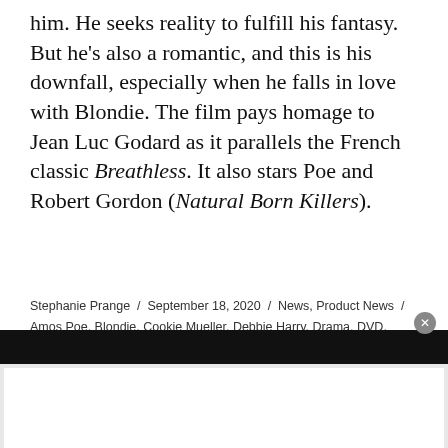him. He seeks reality to fulfill his fantasy. But he's also a romantic, and this is his downfall, especially when he falls in love with Blondie. The film pays homage to Jean Luc Godard as it parallels the French classic Breathless. It also stars Poe and Robert Gordon (Natural Born Killers).
Stephanie Prange / September 18, 2020 / News, Product News / Amos Poe, Blondie, Cookie Mueller, Debbie Harry, Drama, DVD, independent, Independent Film, Indie, John Lurie, Lux Interior, New Wave, New York, New York City, New York filmmakers, No Wave, Punk Rock, Robbie Coltrane, Susan Tyrell, The Cramps / Leave a comment
[Figure (other): Dark bar overlay with white ad area below and close button]